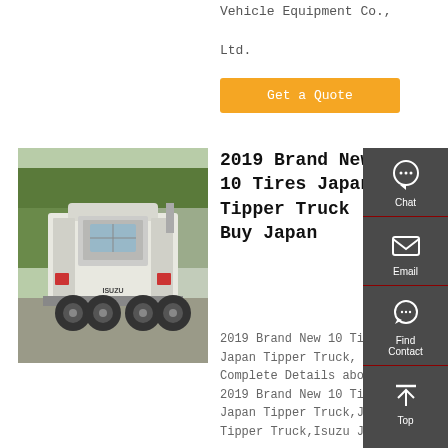Vehicle Equipment Co., Ltd.
Get a Quote
[Figure (photo): Rear view of a white Isuzu tipper truck parked in a lot with trees in background]
2019 Brand New 10 Tires Japan Tipper Truck - Buy Japan
2019 Brand New 10 Tires Japan Tipper Truck, Complete Details about 2019 Brand New 10 Tires Japan Tipper Truck,Japan Tipper Truck,Isuzu Japan